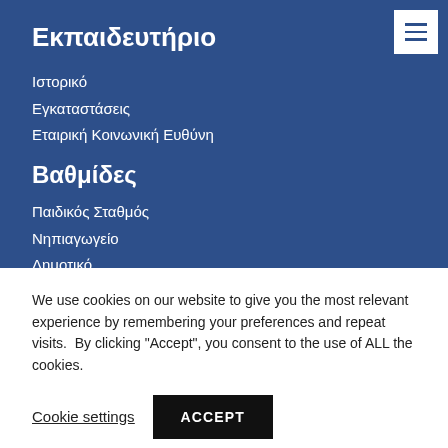Εκπαιδευτήριο
Ιστορικό
Εγκαταστάσεις
Εταιρική Κοινωνική Ευθύνη
Βαθμίδες
Παιδικός Σταθμός
Νηπιαγωγείο
Δημοτικό
We use cookies on our website to give you the most relevant experience by remembering your preferences and repeat visits.  By clicking "Accept", you consent to the use of ALL the cookies.
Cookie settings
ACCEPT